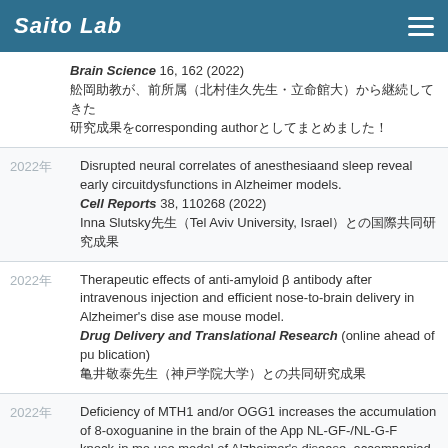Saito Lab
Brain Science 16, 162 (2022) 舩岡助教が、前所属（北村佳久先生・立命館大）から継続してきた研究成果をcorresponding authorとしてまとめました！
2022年 Disrupted neural correlates of anesthesiaand sleep reveal early circuitdysfunctions in Alzheimer models. Cell Reports 38, 110268 (2022) Inna Slutsky先生（Tel Aviv University, Israel）との国際共同研究成果
2022年 Therapeutic effects of anti-amyloid β antibody after intravenous injection and efficient nose-to-brain delivery in Alzheimer's disease mouse model. Drug Delivery and Translational Research (online ahead of publication) 亀井敬泰先生（神戸学院大学）との共同研究成果
2022年 Deficiency of MTH1 and/or OGG1 increases the accumulation of 8-oxoguanine in the brain of the App NL-GF-/NL-G-F knock-in mouse model of Alzheimer's disease, accompanied by accelerated microgliosis and reduced anxiety-like behavior. Neuroscience Research 177, 118-134 (2022) 中別府雄作先生（九州大学）との共同研究成果